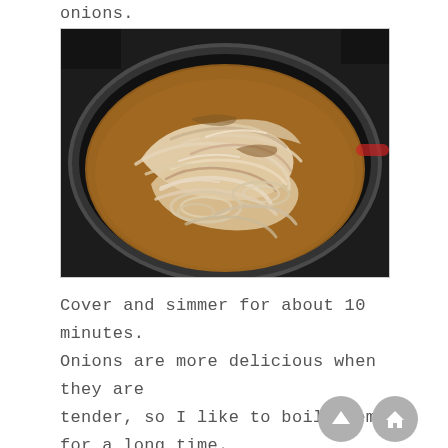onions.
[Figure (photo): A black cast iron pan filled with sliced onions cooking in liquid/oil, viewed from above. The onions are pale/translucent with some browning, arranged in a large mound filling the round pan.]
Cover and simmer for about 10 minutes. Onions are more delicious when they are tender, so I like to boil them for a long time.